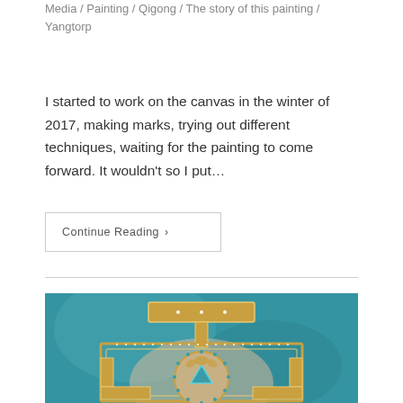Media / Painting / Qigong / The story of this painting / Yangtorp
I started to work on the canvas in the winter of 2017, making marks, trying out different techniques, waiting for the painting to come forward. It wouldn't so I put…
Continue Reading ›
[Figure (photo): A painting featuring a mandala-like yantra design with golden geometric shapes including a T-bar, rectangular frame with dot borders, and a circular medallion with teal/turquoise gem shapes on a teal and beige textured background.]